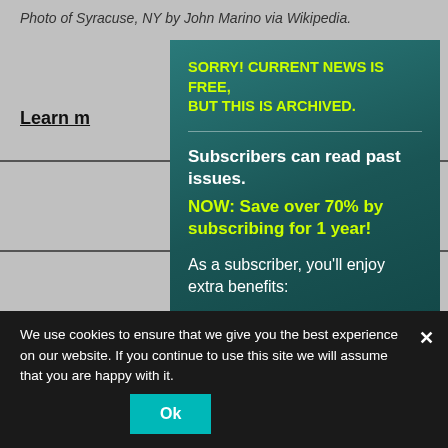Photo of Syracuse, NY by John Marino via Wikipedia.
Learn m
[Figure (screenshot): Background page content with horizontal lines and partially visible text]
SORRY! CURRENT NEWS IS FREE, BUT THIS IS ARCHIVED.
Subscribers can read past issues.
NOW: Save over 70% by subscribing for 1 year!
As a subscriber, you'll enjoy extra benefits:
1) No ads or popups;
2) Access to Archive of 9500+ articles in 175+ Past Issues;
3) Ability to use the PDF;
4) Satisfaction of supporting our cooperative work; and
5) Email notification of all new issues (2X/month). And More!
We use cookies to ensure that we give you the best experience on our website. If you continue to use this site we will assume that you are happy with it.
Ok